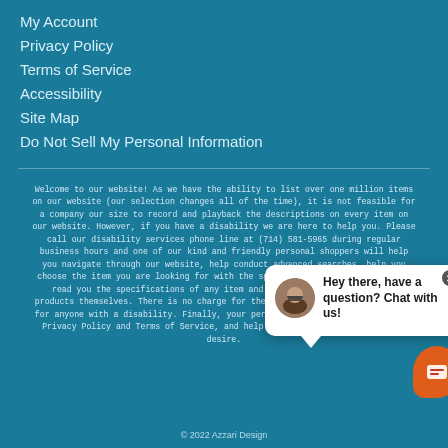My Account
Privacy Policy
Terms of Service
Accessibility
Site Map
Do Not Sell My Personal Information
Welcome to our website! As we have the ability to list over one million items on our website (our selection changes all of the time), it is not feasible for a company our size to record and playback the descriptions on every item on our website. However, if you have a disability we are here to help you. Please call our disability services phone line at (714) 581-5965 during regular business hours and one of our kind and friendly personal shoppers will help you navigate through our website, help conduct advanced searches, help you choose the item you are looking for with the specifications you are seeking, read you the specifications of any item and consult with you about the products themselves. There is no charge for the help of this personal shopper for anyone with a disability. Finally, your personal shopper will explain our Privacy Policy and Terms of Service, and help you place an order if you so desire.
[Figure (screenshot): Chat popup widget with avatar photo of a woman with glasses, message 'Hey there, have a question? Chat with us!', close button, and orange chat bubble button icon.]
© 2022 Azzari Design